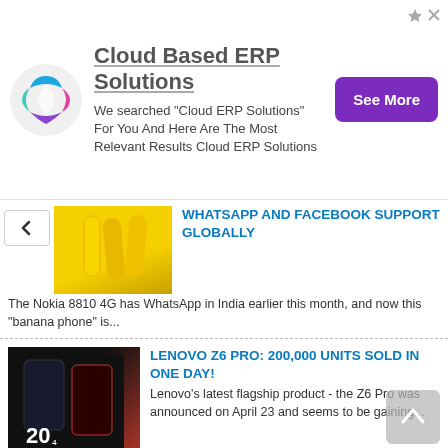[Figure (screenshot): Advertisement banner for Cloud Based ERP Solutions with logo, description text, and See More button]
WHATSAPP AND FACEBOOK SUPPORT GLOBALLY
The Nokia 8810 4G has WhatsApp in India earlier this month, and now this "banana phone" is...
LENOVO Z6 PRO: 200,000 UNITS SOLD IN ONE DAY!
Lenovo's latest flagship product - the Z6 Pro was announced on April 23 and seems to be gaining...
HONOR LAUNCHES ENTRY-LEVEL 8S WITH SIZEABLE BEZELS
The Huawei Honor subsidiary has officially announced its latest budget offer - the Honor 8S. We...
HONOR 20 WILL GET A MOSCHINO EDITION
Honor View 20 arrived on the international